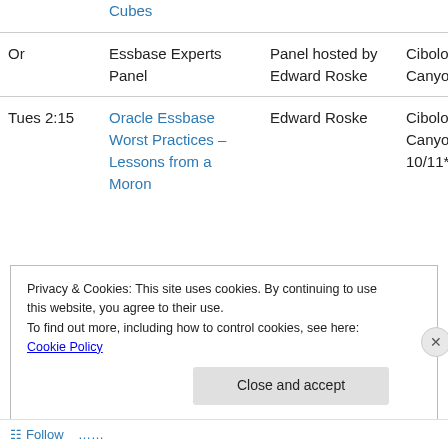|  | Session | Speaker | Room |
| --- | --- | --- | --- |
|  | Cubes |  |  |
| Or | Essbase Experts Panel | Panel hosted by Edward Roske | Cibolo Canyon 9* |
| Tues 2:15 | Oracle Essbase Worst Practices – Lessons from a Moron | Edward Roske | Cibolo Canyon 10/11* |
Privacy & Cookies: This site uses cookies. By continuing to use this website, you agree to their use. To find out more, including how to control cookies, see here: Cookie Policy
Follow